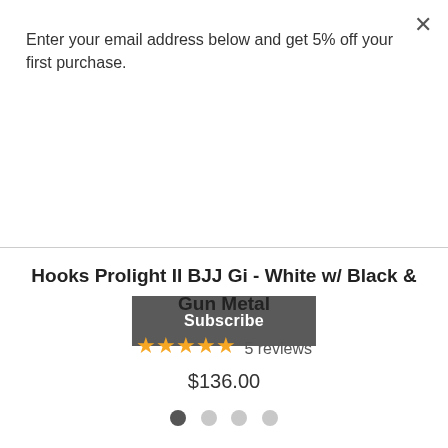×
Enter your email address below and get 5% off your first purchase.
Subscribe
Hooks Prolight II BJJ Gi - White w/ Black & Gun Metal
★★★★★ 5 reviews
$136.00
[Figure (other): Carousel navigation dots: 4 dots, first one dark/active, remaining three light/inactive]